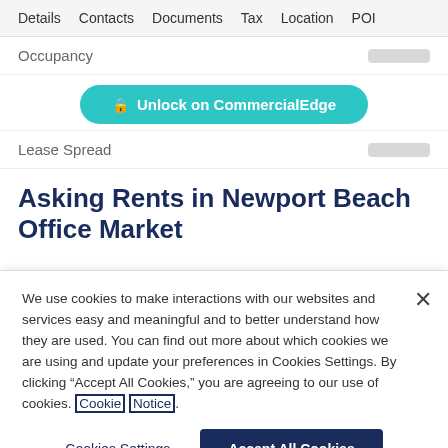Details  Contacts  Documents  Tax  Location  POI
Occupancy
[Figure (screenshot): Unlock on CommercialEdge button (teal/cyan rounded button with lock icon)]
Lease Spread
Asking Rents in Newport Beach Office Market
We use cookies to make interactions with our websites and services easy and meaningful and to better understand how they are used. You can find out more about which cookies we are using and update your preferences in Cookies Settings. By clicking “Accept All Cookies,” you are agreeing to our use of cookies. Cookie Notice.
Cookies Settings
Accept All Cookies